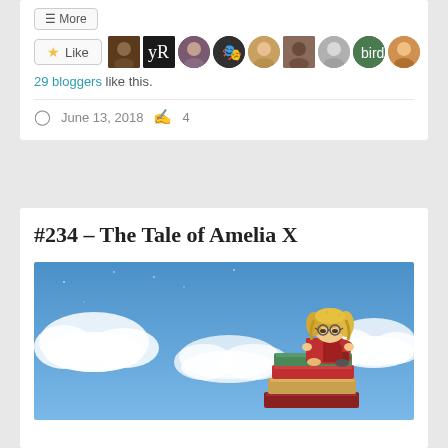More
Like
29 bloggers like this.
June 13, 2018   4
#234 – The Tale of Amelia X
[Figure (illustration): Cartoon illustration of a young girl with blonde hair and round glasses, sitting on a large stack of colorful books, reading a red book, against a blue sky with white clouds background.]